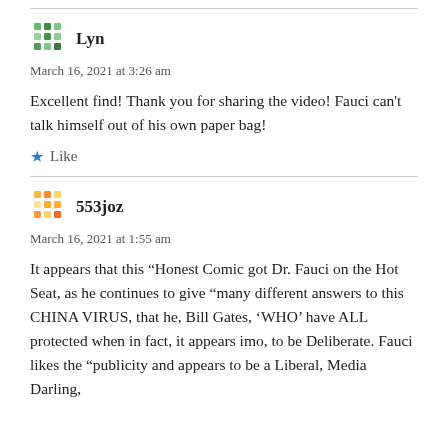[Figure (illustration): Green mosaic/geometric avatar icon for user Lyn]
Lyn
March 16, 2021 at 3:26 am
Excellent find! Thank you for sharing the video! Fauci can’t talk himself out of his own paper bag!
★ Like
[Figure (illustration): Gold/yellow mosaic/geometric avatar icon for user 553joz]
553joz
March 16, 2021 at 1:55 am
It appears that this “Honest Comic got Dr. Fauci on the Hot Seat, as he continues to give “many different answers to this CHINA VIRUS, that he, Bill Gates, ‘WHO’ have ALL protected when in fact, it appears imo, to be Deliberate. Fauci likes the “publicity and appears to be a Liberal, Media Darling,